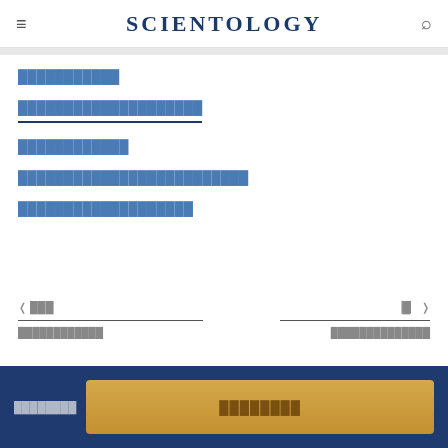≡  SCIENTOLOGY  🔍
▓▓▓▓▓▓▓▓▓▓▓
▓▓▓▓▓▓▓▓▓▓▓▓▓▓▓▓▓▓▓▓
▓▓▓▓▓▓▓▓▓▓▓▓
▓▓▓▓▓▓▓▓▓▓▓▓▓▓▓▓▓▓▓▓▓▓▓▓▓
▓▓▓▓▓▓▓▓▓▓▓▓▓▓▓▓▓▓▓
◁ ▓▓▓   ▓▓▓▓▓▓▓▓▓▓▓   ▓▓▓▓▓▓▓▓▓▓▓▓▓▓▓▓   ⊞ ▷